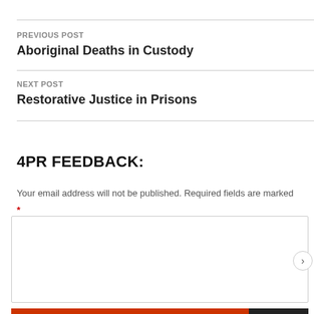PREVIOUS POST
Aboriginal Deaths in Custody
NEXT POST
Restorative Justice in Prisons
4PR FEEDBACK:
Your email address will not be published. Required fields are marked *
Privacy & Cookies: This site uses cookies. By continuing to use this website, you agree to their use.
To find out more, including how to control cookies, see here: Cookie Policy
Close and accept